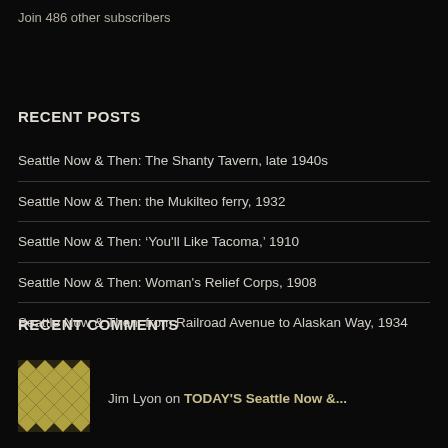Join 486 other subscribers
RECENT POSTS
Seattle Now & Then: The Shanty Tavern, late 1940s
Seattle Now & Then: the Mukilteo ferry, 1932
Seattle Now & Then: 'You'll Like Tacoma,' 1910
Seattle Now & Then: Woman's Relief Corps, 1908
Seattle Now & Then: from Railroad Avenue to Alaskan Way, 1934
RECENT COMMENTS
Jim Lyon on TODAY'S Seattle Now &...